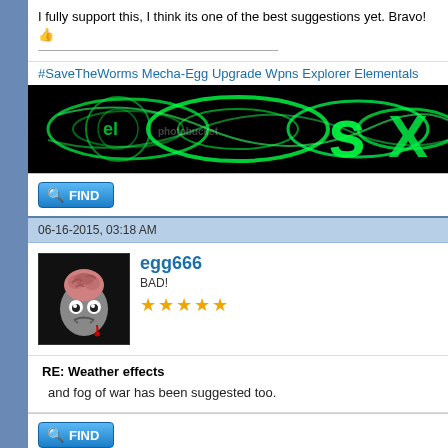I fully support this, I think its one of the best suggestions yet. Bravo! 👍
#SaveTheWorms Mecha-Egg Upgrade Wpns Explorer Elementals
[Figure (photo): Green neon glowing text/logo on black background, appears to say something with X and S letters, photobucket watermark visible]
[Figure (other): FIND button - blue magnifying glass icon with FIND text]
06-16-2015, 03:18 AM
[Figure (illustration): Avatar of egg666 - zombie/brain egg character on black background]
egg666
BAD!
★★★★★
RE: Weather effects
and fog of war has been suggested too.
[Figure (other): FIND button - blue magnifying glass icon with FIND text]
06-16-2015, 03:41 AM
[Figure (illustration): Avatar of next poster - red character on black background, partially visible]